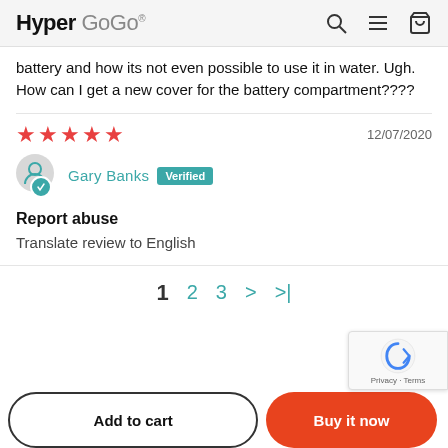Hyper GoGo
battery and how its not even possible to use it in water. Ugh. How can I get a new cover for the battery compartment????
★★★★★  12/07/2020
Gary Banks  Verified
Report abuse
Translate review to English
1  2  3  >  >|
Add to cart   Buy it now